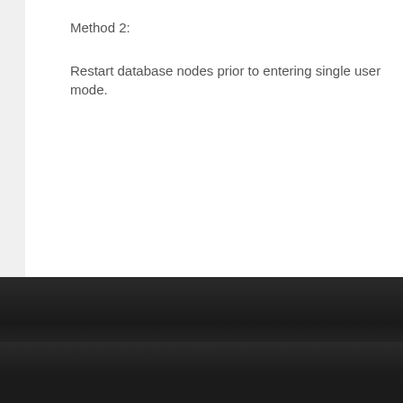Method 2:
Restart database nodes prior to entering single user mode.